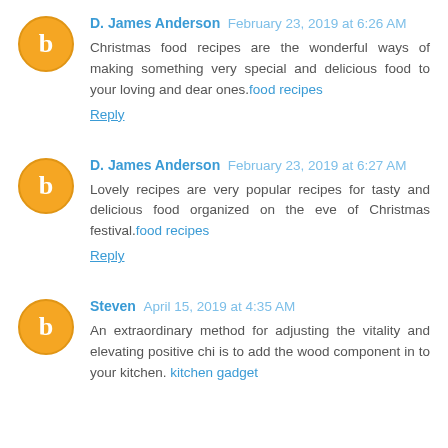D. James Anderson February 23, 2019 at 6:26 AM
Christmas food recipes are the wonderful ways of making something very special and delicious food to your loving and dear ones.food recipes
Reply
D. James Anderson February 23, 2019 at 6:27 AM
Lovely recipes are very popular recipes for tasty and delicious food organized on the eve of Christmas festival.food recipes
Reply
Steven April 15, 2019 at 4:35 AM
An extraordinary method for adjusting the vitality and elevating positive chi is to add the wood component in to your kitchen. kitchen gadget